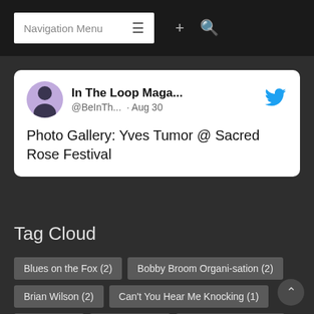Navigation Menu ≡  +  🔍
[Figure (screenshot): Tweet card from In The Loop Maga... (@BeInTh...) dated Aug 30 with Twitter bird logo and profile photo, text reads: Photo Gallery: Yves Tumor @ Sacred Rose Festival]
Tag Cloud
Blues on the Fox (2)
Bobby Broom Organi-sation (2)
Brian Wilson (2)
Can't You Hear Me Knocking (1)
Chicago (5)
Dap-Kings (1)
Doyle Bramhall II (1)
Farm Aid (3)
Farm Aid 30 (3)
FirstMerit Bank Pavilion at Northerly Island (3)